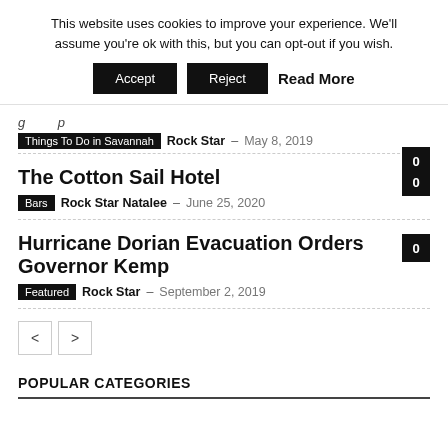This website uses cookies to improve your experience. We'll assume you're ok with this, but you can opt-out if you wish.
Accept | Reject | Read More
The Cotton Sail Hotel
Bars  Rock Star Natalee – June 25, 2020  0
Hurricane Dorian Evacuation Orders Governor Kemp
Featured  Rock Star – September 2, 2019  0
POPULAR CATEGORIES